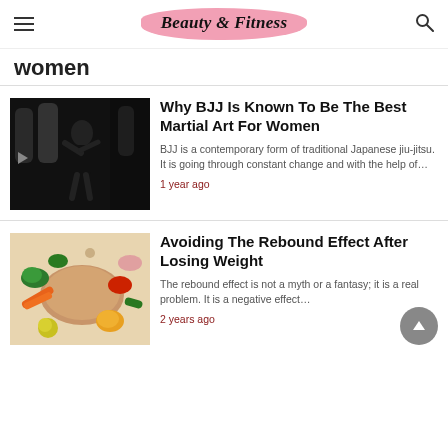Beauty & Fitness
women
Why BJJ Is Known To Be The Best Martial Art For Women
BJJ is a contemporary form of traditional Japanese jiu-jitsu. It is going through constant change and with the help of…
1 year ago
Avoiding The Rebound Effect After Losing Weight
The rebound effect is not a myth or a fantasy; it is a real problem. It is a negative effect…
2 years ago